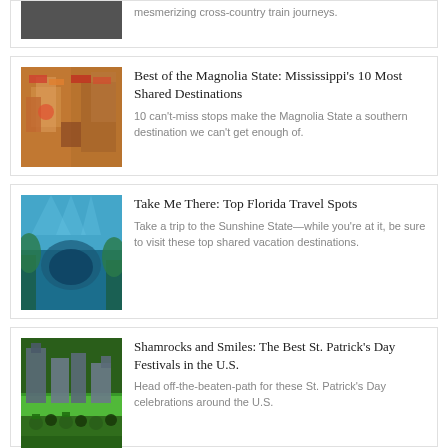mesmerizing cross-country train journeys.
Best of the Magnolia State: Mississippi's 10 Most Shared Destinations
10 can't-miss stops make the Magnolia State a southern destination we can't get enough of.
Take Me There: Top Florida Travel Spots
Take a trip to the Sunshine State—while you're at it, be sure to visit these top shared vacation destinations.
Shamrocks and Smiles: The Best St. Patrick's Day Festivals in the U.S.
Head off-the-beaten-path for these St. Patrick's Day celebrations around the U.S.